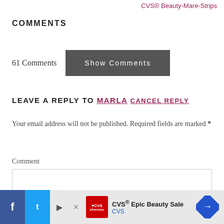CVS® Beauty Sale Strips
COMMENTS
61 Comments
Show Comments
LEAVE A REPLY TO MARLA CANCEL REPLY
Your email address will not be published. Required fields are marked *
Comment
[Figure (screenshot): Comment text area input box, empty]
[Figure (screenshot): Advertisement bar at bottom: social icons (Facebook, Twitter, play/close), CVS pharmacy Epic Beauty Sale ad with logo and navigation arrow]